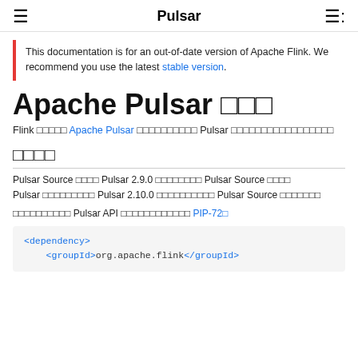Pulsar
This documentation is for an out-of-date version of Apache Flink. We recommend you use the latest stable version.
Apache Pulsar □□□
Flink □□□□□ Apache Pulsar □□□□□□□□□□□ Pulsar □□□□□□□□□□□□□□□□□
□□□□
Pulsar Source □□□□ Pulsar 2.9.0 □□□□□□□□ Pulsar Source □□□□ Pulsar □□□□□□□□□ Pulsar 2.10.0 □□□□□□□□□□ Pulsar Source □□□□□□□
□□□□□□□□□□ Pulsar API □□□□□□□□□□□□ PIP-72□
<dependency>
    <groupId>org.apache.flink</groupId>